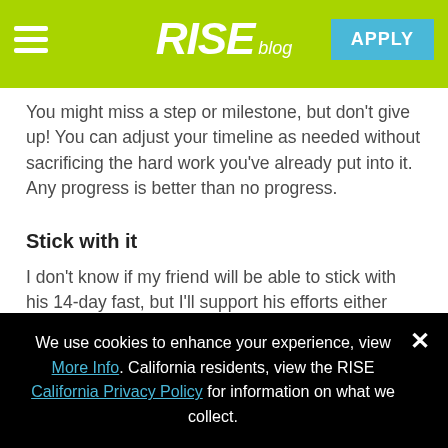RISE blog | APPLY
You might miss a step or milestone, but don’t give up! You can adjust your timeline as needed without sacrificing the hard work you’ve already put into it. Any progress is better than no progress.
Stick with it
I don’t know if my friend will be able to stick with his 14-day fast, but I’ll support his efforts either way.  Losing weight can be tough just like improving your credit.  But if you stick with your plan, acknowledge your
We use cookies to enhance your experience, view More Info. California residents, view the RISE California Privacy Policy for information on what we collect.